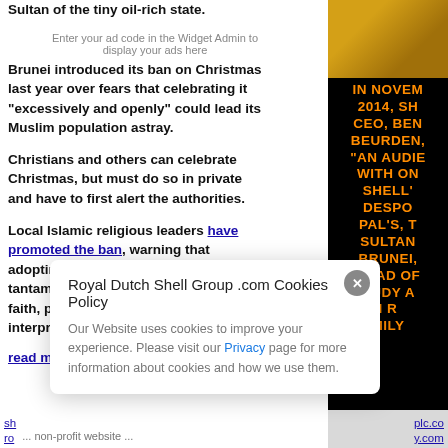Sultan of the tiny oil-rich state.
Enter your ad code in the Widget Admin to display your ads here
Brunei introduced its ban on Christmas last year over fears that celebrating it “excessively and openly” could lead its Muslim population astray.
Christians and others can celebrate Christmas, but must do so in private and have to first alert the authorities.
Local Islamic religious leaders have promoted the ban, warning that adopting the trappings of Christmas is tantamount to imitation of another faith, prohibited in some interpretations of Islam.
read more
[Figure (illustration): Orange and black promotional image with text: IN NOVEM 2014, SH CEO, BEN BEURDEN, AN AUDIE WITH ON SHELL DESPO PAL'S, T SULTAN BRUNEI, HEAD OF RUDY A I R MILY]
Royal Dutch Shell Group .com Cookies Policy
Our Website uses cookies to improve your experience. Please visit our Privacy page for more information about cookies and how we use them.
sh... roy...   plc.com y.com